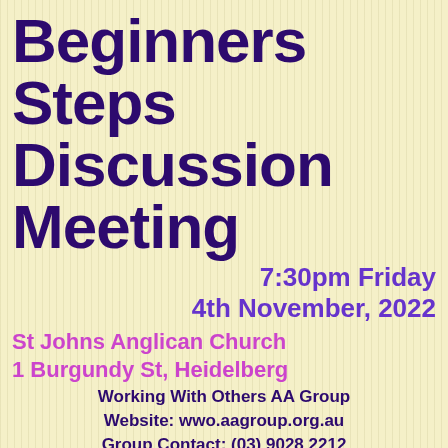Beginners Steps Discussion Meeting
7:30pm Friday 4th November, 2022
St Johns Anglican Church 1 Burgundy St, Heidelberg
Working With Others AA Group
Website: wwo.aagroup.org.au
Group Contact: (03) 9028 2212